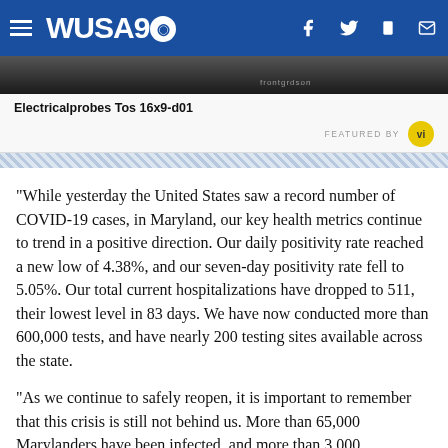WUSA9
[Figure (screenshot): Dark image strip with text 'frontgrdson' partially visible]
Electricalprobes Tos 16x9-d01
FEATURED BY vi
"While yesterday the United States saw a record number of COVID-19 cases, in Maryland, our key health metrics continue to trend in a positive direction. Our daily positivity rate reached a new low of 4.38%, and our seven-day positivity rate fell to 5.05%. Our total current hospitalizations have dropped to 511, their lowest level in 83 days. We have now conducted more than 600,000 tests, and have nearly 200 testing sites available across the state.
"As we continue to safely reopen, it is important to remember that this crisis is still not behind us. More than 65,000 Marylanders have been infected, and more than 3,000 Marylanders have now lost their lives to this deadly